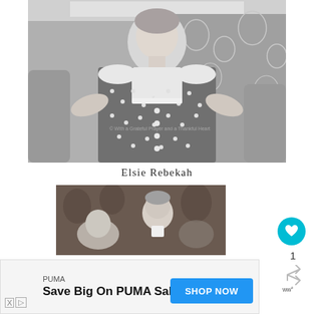[Figure (photo): Black and white vintage photograph of a woman in a polka dot dress with ruffled shoulders sitting relaxed on a floral sofa, smiling at the camera]
Elsie Rebekah
[Figure (photo): Old black and white photograph of a man and woman sitting together, slightly blurry, with floral background]
1